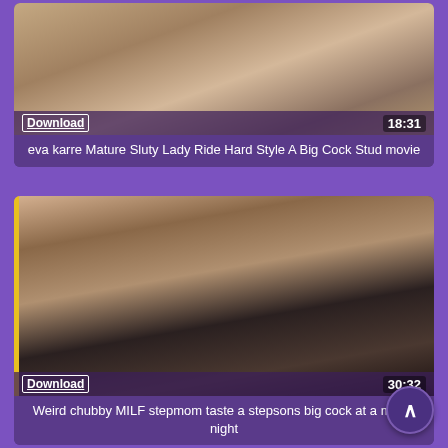[Figure (screenshot): Video thumbnail for first card showing adult content, with Download link and duration 18:31 overlaid at bottom]
eva karre Mature Sluty Lady Ride Hard Style A Big Cock Stud movie
[Figure (screenshot): Video thumbnail for second card showing adult content, with Download link and duration 30:32 overlaid at bottom]
Weird chubby MILF stepmom taste a stepsons big cock at a movie night